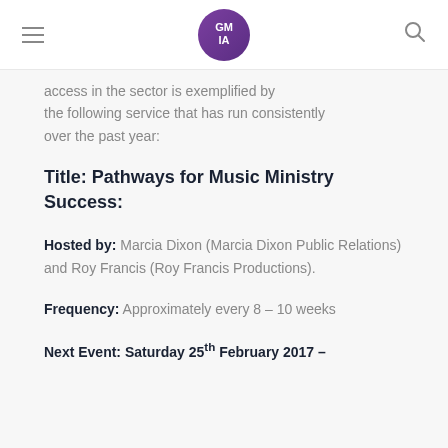GMIA logo, hamburger menu, search icon
access in the sector is exemplified by the following service that has run consistently over the past year:
Title: Pathways for Music Ministry Success:
Hosted by: Marcia Dixon (Marcia Dixon Public Relations) and Roy Francis (Roy Francis Productions).
Frequency: Approximately every 8 – 10 weeks
Next Event: Saturday 25th February 2017 –